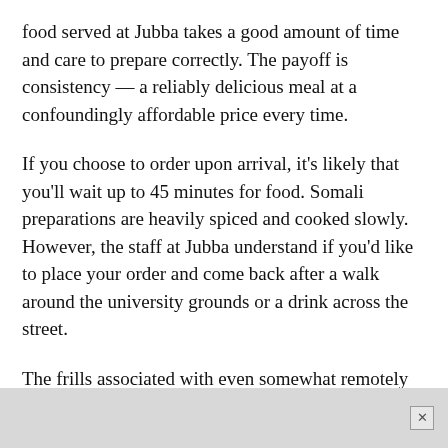food served at Jubba takes a good amount of time and care to prepare correctly. The payoff is consistency — a reliably delicious meal at a confoundingly affordable price every time.
If you choose to order upon arrival, it's likely that you'll wait up to 45 minutes for food. Somali preparations are heavily spiced and cooked slowly. However, the staff at Jubba understand if you'd like to place your order and come back after a walk around the university grounds or a drink across the street.
The frills associated with even somewhat remotely fine dining are refreshingly tossed aside. This isn't to say that service is bad — it's actually quite nice. After ordering your food, you can sit wherever you'd like, and a small pitcher of